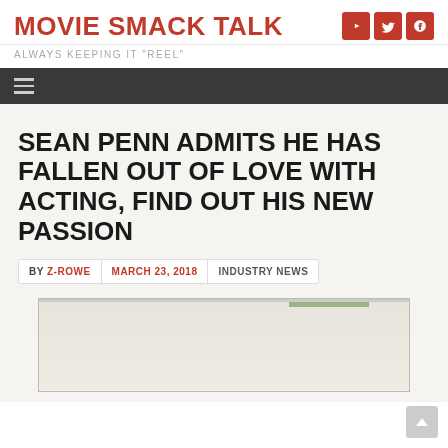MOVIE SMACK TALK
ALWAYS KEEPING IT "REEL"
SEAN PENN ADMITS HE HAS FALLEN OUT OF LOVE WITH ACTING, FIND OUT HIS NEW PASSION
BY Z-ROWE   MARCH 23, 2018   INDUSTRY NEWS
[Figure (photo): Partially visible photograph below the article metadata, appears to be an outdoor scene]